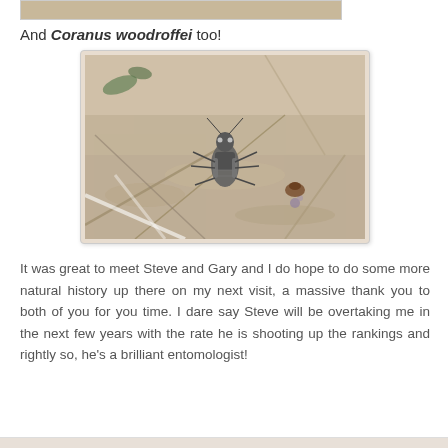[Figure (photo): Partial top edge of a nature photograph showing sandy/earthy ground]
And Coranus woodroffei too!
[Figure (photo): Close-up photograph of a Coranus woodroffei insect (assassin bug) on sandy ground with dry vegetation]
It was great to meet Steve and Gary and I do hope to do some more natural history up there on my next visit, a massive thank you to both of you for you time. I dare say Steve will be overtaking me in the next few years with the rate he is shooting up the rankings and rightly so, he's a brilliant entomologist!